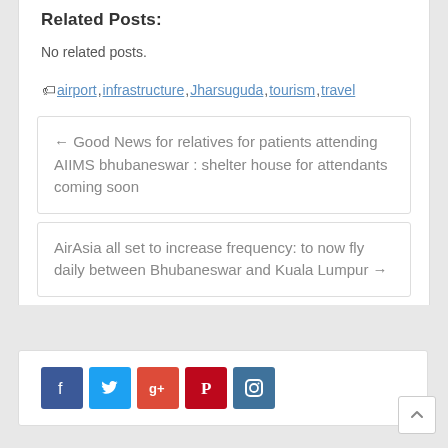Related Posts:
No related posts.
airport, infrastructure, Jharsuguda, tourism, travel
← Good News for relatives for patients attending AIIMS bhubaneswar : shelter house for attendants coming soon
AirAsia all set to increase frequency: to now fly daily between Bhubaneswar and Kuala Lumpur →
[Figure (other): Row of social media share buttons: Facebook (blue), Twitter (light blue), Google+ (red), Pinterest (dark red), Instagram (dark blue)]